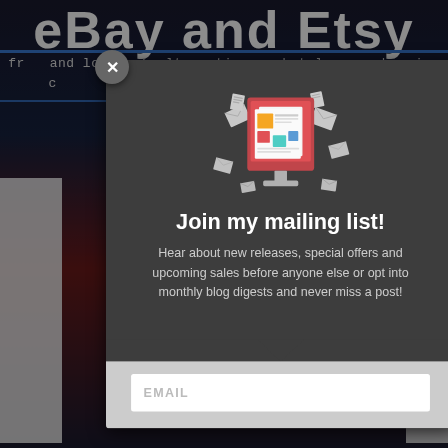[Figure (screenshot): Background webpage with 'eBay and Etsy' title text visible, with a dark multicolor background]
[Figure (illustration): Email newsletter signup modal popup with a monitor/computer icon showing newspapers and envelopes flying around it, on a dark gray background]
Join my mailing list!
Hear about new releases, special offers and upcoming sales before anyone else or opt into monthly blog digests and never miss a post!
EMAIL